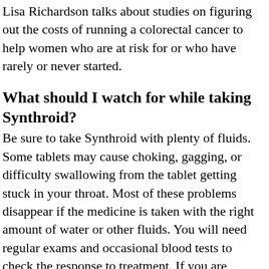Lisa Richardson talks about studies on figuring out the costs of running a colorectal cancer to help women who are at risk for or who have rarely or never started.
What should I watch for while taking Synthroid?
Be sure to take Synthroid with plenty of fluids. Some tablets may cause choking, gagging, or difficulty swallowing from the tablet getting stuck in your throat. Most of these problems disappear if the medicine is taken with the right amount of water or other fluids. You will need regular exams and occasional blood tests to check the response to treatment. If you are receiving Synthroid for an underactive thyroid, it may be several weeks before you notice an improvement. Check with